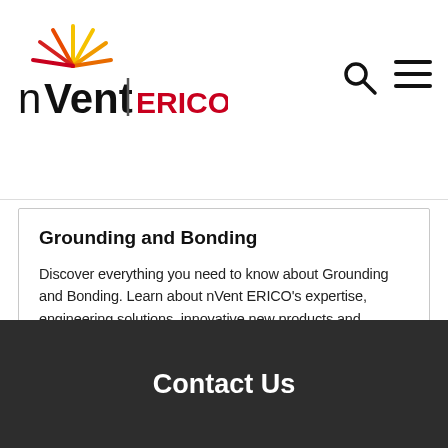[Figure (logo): nVent ERICO logo with sunburst graphic in red, orange, and yellow above the text 'nVent|ERICO' where ERICO is in red]
Grounding and Bonding
Discover everything you need to know about Grounding and Bonding. Learn about nVent ERICO's expertise, engineering solutions, innovative new products and grounding and bonding resources, all in one place.
LEARN MORE →
Contact Us